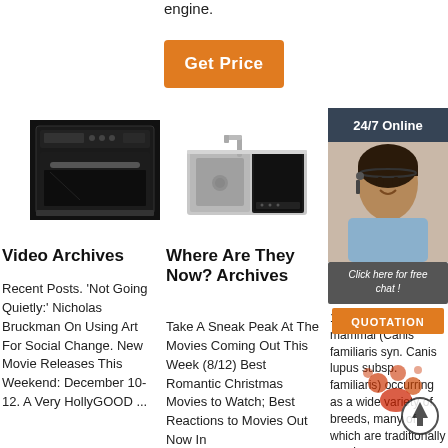engine.
[Figure (other): Orange 'Get Price' button]
[Figure (photo): Black built-in oven product image]
[Figure (photo): Stainless steel kitchen sink product image]
[Figure (photo): Dishwasher product image]
[Figure (photo): Customer service agent woman with headset, 24/7 Online banner, Click here for free chat bubble, QUOTATION button]
Video Archives
Recent Posts. 'Not Going Quietly:' Nicholas Bruckman On Using Art For Social Change. New Movie Releases This Weekend: December 10-12. A Very HollyGOOD ...
Where Are They Now? Archives
Take A Sneak Peak At The Movies Coming Out This Week (8/12) Best Romantic Christmas Movies to Watch; Best Reactions to Movies Out Now In
Help > Box - T Diction
1. A dom carnivorous mammal (Canis familiaris syn. Canis lupus subsp. familiaris) occurring as a wide variety of breeds, many of which are traditionally used